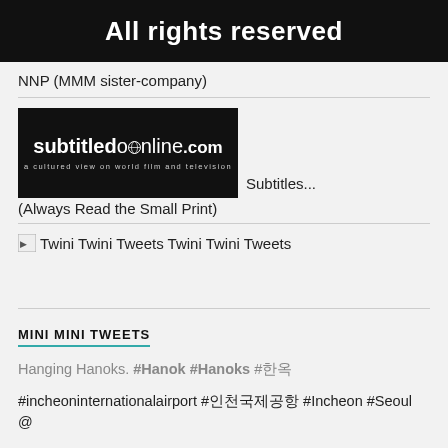[Figure (illustration): Black banner with white bold text 'All rights reserved']
NNP (MMM sister-company)
[Figure (logo): subtitledonline.com logo — black background, white text reading 'subtitledonline.com' with tagline 'a cultured view on world film and television']
Subtitles... (Always Read the Small Print)
Twini Twini Tweets Twini Twini Tweets
MINI MINI TWEETS
Hanging Hanoks. #Hanok #Hanoks #한옥
#incheoninternationalairport #인천국제공항 #Incheon #Seoul @